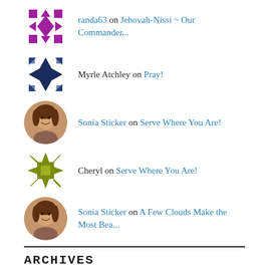randa63 on Jehovah-Nissi ~ Our Commander...
Myrle Atchley on Pray!
Sonia Sticker on Serve Where You Are!
Cheryl on Serve Where You Are!
Sonia Sticker on A Few Clouds Make the Most Bea...
ARCHIVES
September 2022